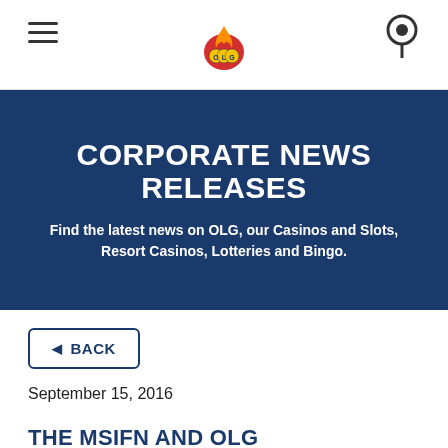[Figure (logo): OLG logo with flame icon in center of navigation bar]
CORPORATE NEWS RELEASES
Find the latest news on OLG, our Casinos and Slots, Resort Casinos, Lotteries and Bingo.
◄ BACK
September 15, 2016
THE MSIFN AND OLG COMMEMORATE HISTORIC AGREEMENTS ON THE FIRST NATION'S TRADITIONAL TERRITORY